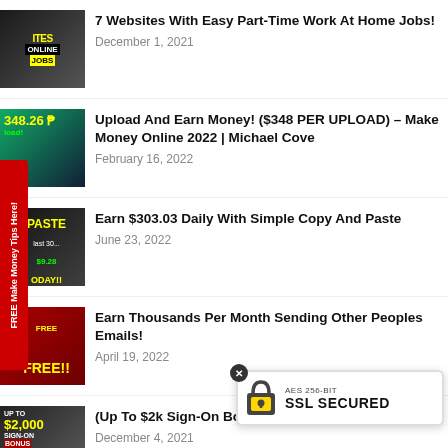7 Websites With Easy Part-Time Work At Home Jobs! — December 1, 2021
Upload And Earn Money! ($348 PER UPLOAD) – Make Money Online 2022 | Michael Cove — February 16, 2022
Earn $303.03 Daily With Simple Copy And Paste — June 23, 2022
Earn Thousands Per Month Sending Other Peoples Emails! — April 19, 2022
(Up To $2k Sign-On Bonus) Work From Home Jobs! — December 4, 2021
[Figure (screenshot): SSL Secured badge overlay with lock icon, AES 256-BIT text, and SSL SECURED label]